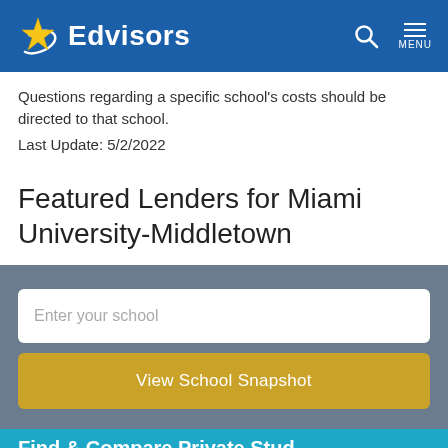Edvisors
Questions regarding a specific school's costs should be directed to that school.
Last Update: 5/2/2022
Featured Lenders for Miami University-Middletown
Enter your school
View School Snapshot
Find & Compare Private Student...